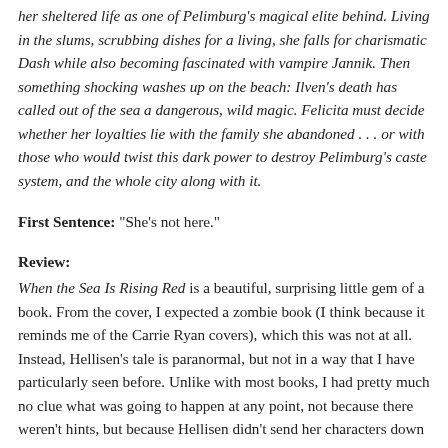her sheltered life as one of Pelimburg's magical elite behind. Living in the slums, scrubbing dishes for a living, she falls for charismatic Dash while also becoming fascinated with vampire Jannik. Then something shocking washes up on the beach: Ilven's death has called out of the sea a dangerous, wild magic. Felicita must decide whether her loyalties lie with the family she abandoned . . . or with those who would twist this dark power to destroy Pelimburg's caste system, and the whole city along with it.
First Sentence: "She's not here."
Review:
When the Sea Is Rising Red is a beautiful, surprising little gem of a book. From the cover, I expected a zombie book (I think because it reminds me of the Carrie Ryan covers), which this was not at all. Instead, Hellisen's tale is paranormal, but not in a way that I have particularly seen before. Unlike with most books, I had pretty much no clue what was going to happen at any point, not because there weren't hints, but because Hellisen didn't send her characters down the usual roads.